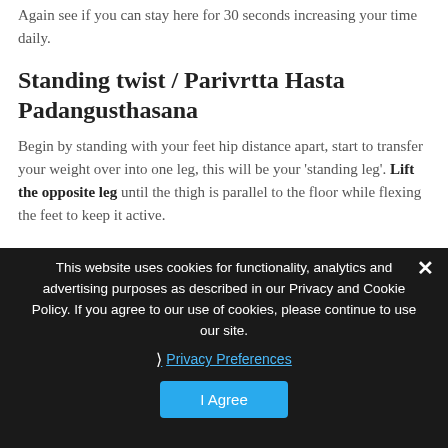Again see if you can stay here for 30 seconds increasing your time daily.
Standing twist / Parivrtta Hasta Padangusthasana
Begin by standing with your feet hip distance apart, start to transfer your weight over into one leg, this will be your 'standing leg'. Lift the opposite leg until the thigh is parallel to the floor while flexing the feet to keep it active.
This website uses cookies for functionality, analytics and advertising purposes as described in our Privacy and Cookie Policy. If you agree to our use of cookies, please continue to use our site.
Privacy Preferences
I Agree